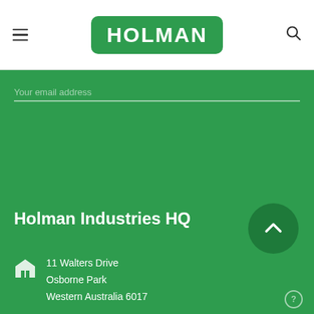[Figure (logo): Holman Industries logo — white bold text HOLMAN on green rounded rectangle background]
Your email address
Holman Industries HQ
11 Walters Drive
Osborne Park
Western Australia 6017